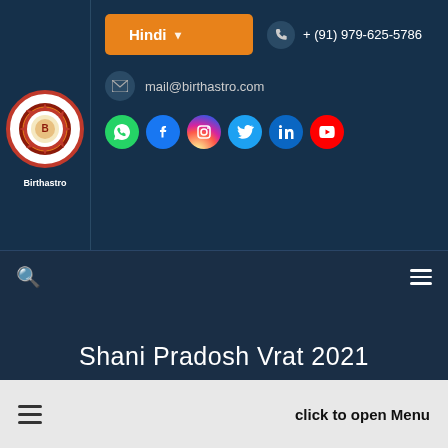[Figure (logo): Birthastro circular logo with red border and decorative design]
Birthastro
Hindi ▾
+ (91) 979-625-5786
mail@birthastro.com
[Figure (other): Social media icons: WhatsApp, Facebook, Instagram, Twitter, LinkedIn, YouTube]
🔍
≡
Shani Pradosh Vrat 2021
Home / Vrats / Shani Pradosh Vrat
≡   click to open Menu